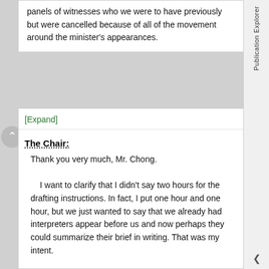panels of witnesses who we were to have previously but were cancelled because of all of the movement around the minister's appearances.
[Expand]
The Chair:
Thank you very much, Mr. Chong.
I want to clarify that I didn't say two hours for the drafting instructions. In fact, I put one hour and one hour, but we just wanted to say that we already had interpreters appear before us and now perhaps they could summarize their brief in writing. That was my intent.